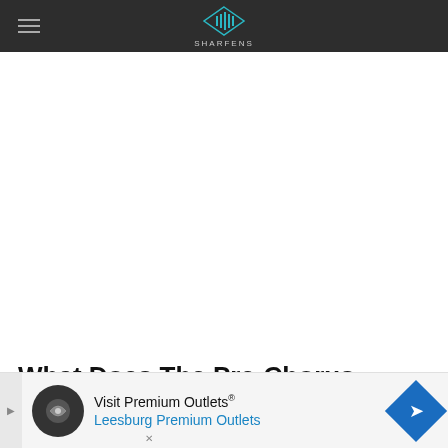SHARFENS
[Figure (other): Advertisement placeholder area (white space)]
What Does The Pre-Chorus Mean
Following the first verse, the song enters into a pre
[Figure (other): Bottom advertisement banner: Visit Premium Outlets® Leesburg Premium Outlets]